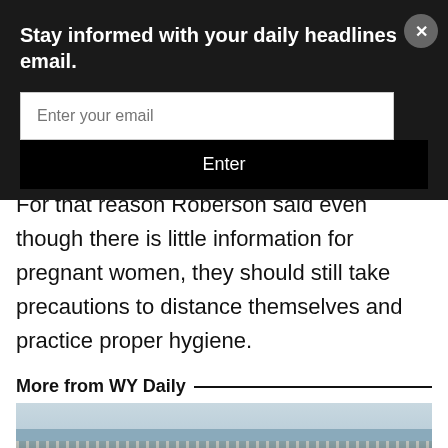Stay informed with your daily headlines email.
Enter your email
Enter
For that reason Roberson said even though there is little information for pregnant women, they should still take precautions to distance themselves and practice proper hygiene.
More from WY Daily
[Figure (photo): Outdoor band performance with four musicians playing guitars near a waterfront fence, overcast sky in the background.]